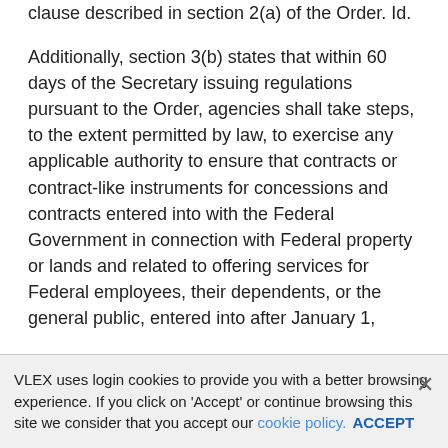clause described in section 2(a) of the Order. Id.
Additionally, section 3(b) states that within 60 days of the Secretary issuing regulations pursuant to the Order, agencies shall take steps, to the extent permitted by law, to exercise any applicable authority to ensure that contracts or contract-like instruments for concessions and contracts entered into with the Federal Government in connection with Federal property or lands and related to offering services for Federal employees, their dependents, or the general public, entered into after January 1, 2017, consistent with the effective date of such agency action, comply with the requirements set forth in section 2 of the Order. 80 FR 54699.
Section 3(c) specifies that any regulations issued pursuant to section 3 of the Order should, to the extent practicable and consistent
VLEX uses login cookies to provide you with a better browsing experience. If you click on 'Accept' or continue browsing this site we consider that you accept our cookie policy. ACCEPT